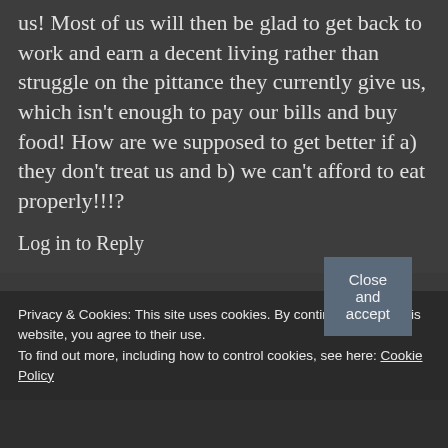us! Most of us will then be glad to get back to work and earn a decent living rather than struggle on the pittance they currently give us, which isn't enough to pay our bills and buy food! How are we supposed to get better if a) they don't treat us and b) we can't afford to eat properly!!!?
Log in to Reply
Privacy & Cookies: This site uses cookies. By continuing to use this website, you agree to their use.
To find out more, including how to control cookies, see here: Cookie Policy
Close and accept